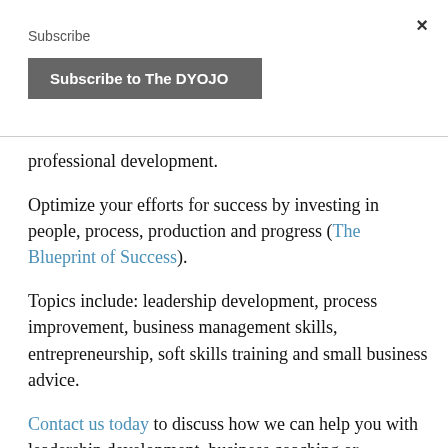×
Subscribe
Subscribe to The DYOJO
professional development.
Optimize your efforts for success by investing in people, process, production and progress (The Blueprint of Success).
Topics include: leadership development, process improvement, business management skills, entrepreneurship, soft skills training and small business advice.
Contact us today to discuss how we can help you with leadership development, business coaching or freelance